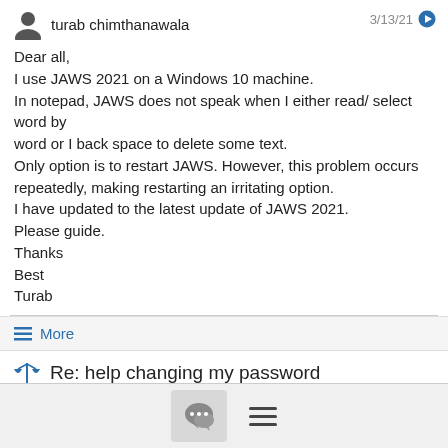turab chimthanawala  3/13/21
Dear all,
I use JAWS 2021 on a Windows 10 machine.
In notepad, JAWS does not speak when I either read/ select word by
word or I back space to delete some text.
Only option is to restart JAWS. However, this problem occurs repeatedly, making restarting an irritating option.
I have updated to the latest update of JAWS 2021.
Please guide.
Thanks
Best
Turab
≡ More
Re: help changing my password